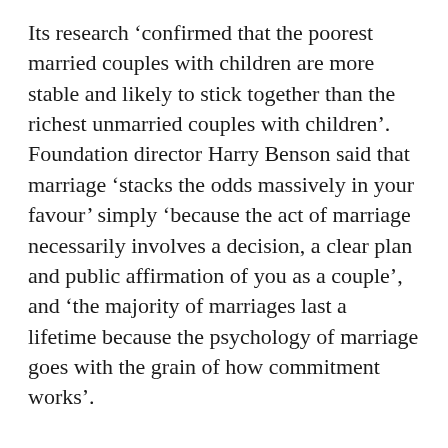Its research ‘confirmed that the poorest married couples with children are more stable and likely to stick together than the richest unmarried couples with children’. Foundation director Harry Benson said that marriage ‘stacks the odds massively in your favour’ simply ‘because the act of marriage necessarily involves a decision, a clear plan and public affirmation of you as a couple’, and ‘the majority of marriages last a lifetime because the psychology of marriage goes with the grain of how commitment works’.
The Foundation found that, overwhelmingly, young adults still wish to marry, seeing marriage ‘as the gold standard of relationships’, although there is a massive gap between aspiration and achievement, especially among